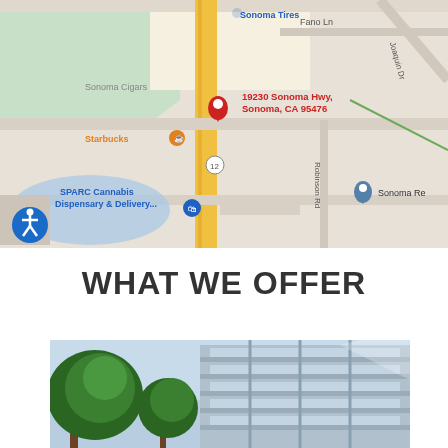[Figure (map): Google Maps screenshot showing 19230 Sonoma Hwy, Sonoma, CA 95476. Map shows nearby landmarks: Sonoma Tires, Sonoma Cigars, Starbucks, SPARC Cannabis Dispensary & Delivery, route 12 highway in yellow, Fano Ln, Joaquin Dr, Robinson Rd, and a Sonoma Re location marker. Accessibility icon in bottom-left corner.]
WHAT WE OFFER
[Figure (photo): Exterior photo of a modern building with large glass windows/panels, metal framing, blue sky, and green trees visible in foreground.]